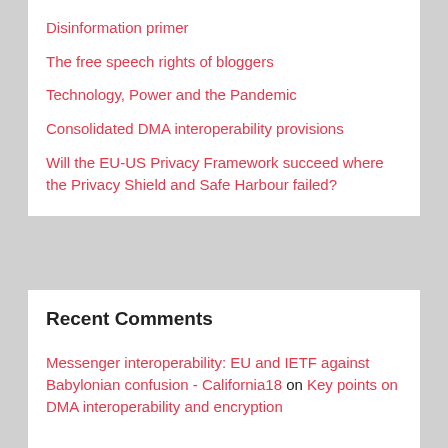Disinformation primer
The free speech rights of bloggers
Technology, Power and the Pandemic
Consolidated DMA interoperability provisions
Will the EU-US Privacy Framework succeed where the Privacy Shield and Safe Harbour failed?
Recent Comments
Messenger interoperability: EU and IETF against Babylonian confusion - California18 on Key points on DMA interoperability and encryption